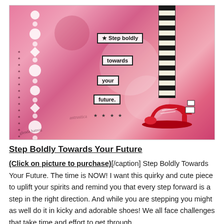[Figure (illustration): Mixed media art journal page with pink background, white decorative circular/diamond column on left, black-and-white striped leg on right, red high-heel shoe at bottom right, and text labels reading 'Step boldly', 'towards', 'your', 'future.' in the center.]
Step Boldly Towards Your Future
(Click on picture to purchase)[/caption] Step Boldly Towards Your Future. The time is NOW!  I want this quirky and cute piece to uplift your spirits and remind you that every step forward is a step in the right direction. And while you are stepping you might as well do it in kicky and adorable shoes! We all face challenges that take time and effort to get through